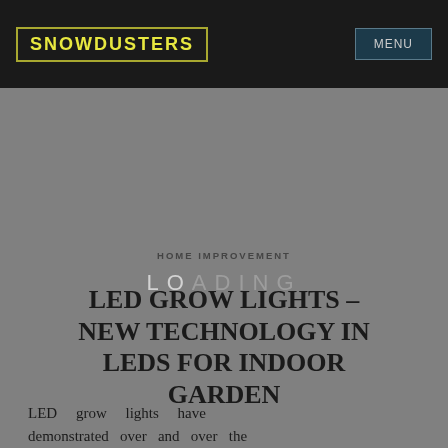SNOWDUSTERS
HOME IMPROVEMENT
LED GROW LIGHTS – NEW TECHNOLOGY IN LEDS FOR INDOOR GARDEN
PUBLISH ON JUNE 20, 2022  BY ROSEMARY
LED grow lights have demonstrated over and over the